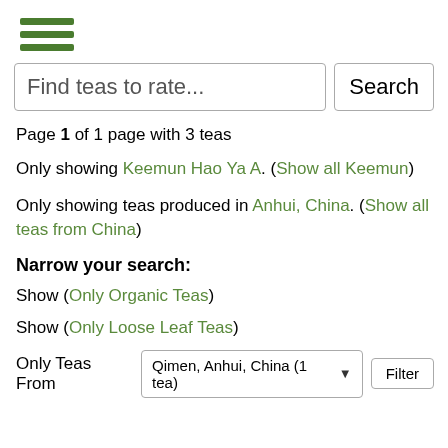[Figure (other): Hamburger menu icon with three green horizontal lines]
Find teas to rate...
Search
Page 1 of 1 page with 3 teas
Only showing Keemun Hao Ya A. (Show all Keemun)
Only showing teas produced in Anhui, China. (Show all teas from China)
Narrow your search:
Show (Only Organic Teas)
Show (Only Loose Leaf Teas)
Only Teas From  Qimen, Anhui, China (1 tea)  Filter